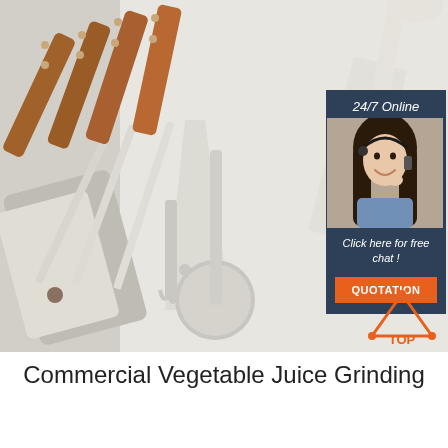[Figure (photo): Kitchen utensils including spatulas, ladle, pasta fork, and slotted turner with wooden handles arranged on a light background. Overlay chat widget with woman wearing headset, '24/7 Online' text, 'Click here for free chat!' message, orange QUOTATION button, and TOP logo in bottom right.]
Commercial Vegetable Juice Grinding